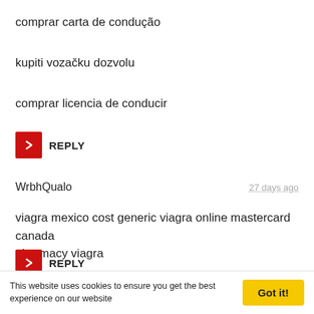comprar carta de condução
kupiti vozačku dozvolu
comprar licencia de conducir
REPLY
WrbhQualo  27 days ago
viagra mexico cost generic viagra online mastercard canada pharmacy viagra
REPLY
LaureenSnPa  27 days ago
This website uses cookies to ensure you get the best experience on our website